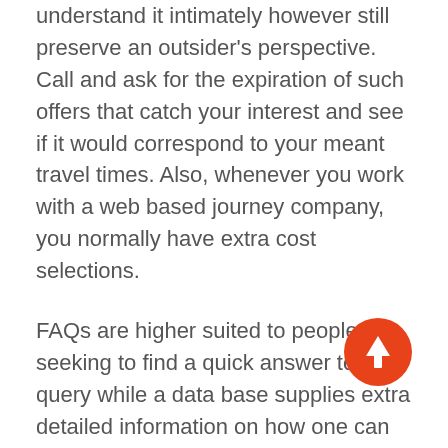understand it intimately however still preserve an outsider's perspective. Call and ask for the expiration of such offers that catch your interest and see if it would correspond to your meant travel times. Also, whenever you work with a web based journey company, you normally have extra cost selections.
FAQs are higher suited to people seeking to find a quick answer to a query while a data base supplies extra detailed information on how one can use the journey website. The U.S. Government's Centers for Disease Control and Prevention maintains a superb Web website, stuffed with health data associated to international journey. We slender down our list with expert perception and minimize anything that doesn't meet our requirements. While you might not always be able to name a customer support
[Figure (other): Orange circular scroll-to-top button with white upward arrow icon]